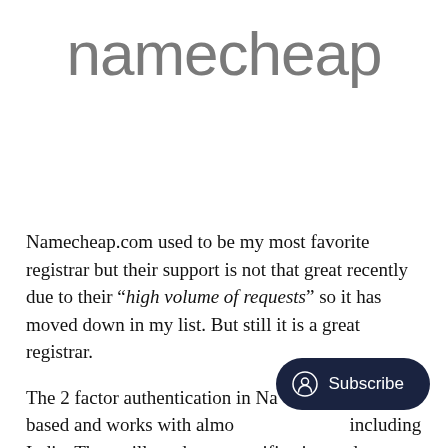[Figure (logo): Namecheap logo text in light gray sans-serif font]
Namecheap.com used to be my most favorite registrar but their support is not that great recently due to their “high volume of requests” so it has moved down in my list. But still it is a great registrar.
The 2 factor authentication in Namecheap is phone based and works with almost all countries including India. They will send you a verification code